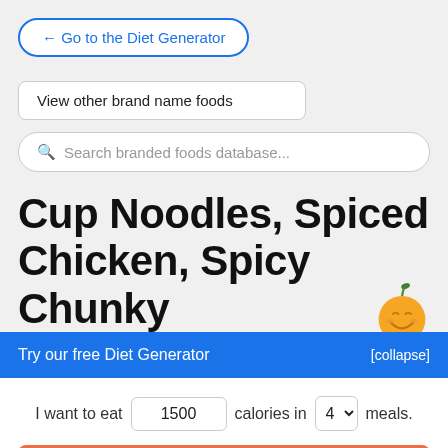← Go to the Diet Generator
View other brand name foods
Search branded foods database...
Cup Noodles, Spiced Chicken, Spicy Chunky
Try our free Diet Generator
[collapse]
I want to eat 1500 calories in 4 meals.
Generate